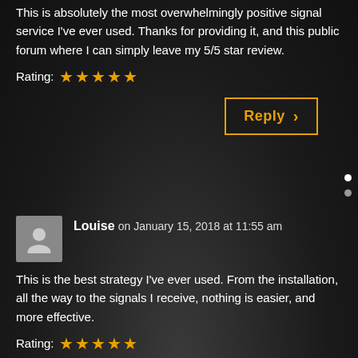This is absolutely the most overwhelmingly positive signal service I've ever used. Thanks for providing it, and this public forum where I can simply leave my 5/5 star review.
Rating: ★★★★★
Reply >
Louise on January 15, 2018 at 11:55 am
This is the best strategy I've ever used. From the installation, all the way to the signals I receive, nothing is easier, and more effective.
Rating: ★★★★★
Reply >